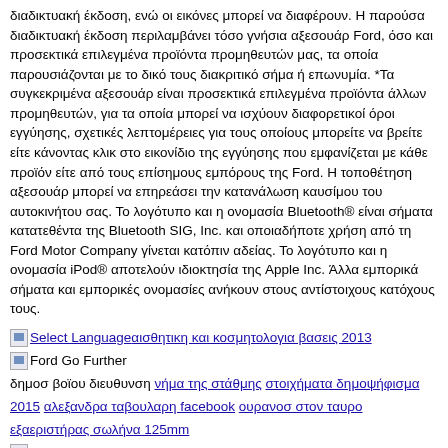διαδικτυακή έκδοση, ενώ οι εικόνες μπορεί να διαφέρουν. Η παρούσα διαδικτυακή έκδοση περιλαμβάνει τόσο γνήσια αξεσουάρ Ford, όσο και προσεκτικά επιλεγμένα προϊόντα προμηθευτών μας, τα οποία παρουσιάζονται με το δικό τους διακριτικό σήμα ή επωνυμία. *Τα συγκεκριμένα αξεσουάρ είναι προσεκτικά επιλεγμένα προϊόντα άλλων προμηθευτών, για τα οποία μπορεί να ισχύουν διαφορετικοί όροι εγγύησης, σχετικές λεπτομέρειες για τους οποίους μπορείτε να βρείτε είτε κάνοντας κλικ στο εικονίδιο της εγγύησης που εμφανίζεται με κάθε προϊόν είτε από τους επίσημους εμπόρους της Ford. Η τοποθέτηση αξεσουάρ μπορεί να επηρεάσει την κατανάλωση καυσίμου του αυτοκινήτου σας. Το λογότυπο και η ονομασία Bluetooth® είναι σήματα κατατεθέντα της Bluetooth SIG, Inc. και οποιαδήποτε χρήση από τη Ford Motor Company γίνεται κατόπιν αδείας. Το λογότυπο και η ονομασία iPod® αποτελούν ιδιοκτησία της Apple Inc. Άλλα εμπορικά σήματα και εμπορικές ονομασίες ανήκουν στους αντίστοιχους κατόχους τους.
[icon] Select Language αισθητικη και κοσμητολογια βασεις 2013
[icon] Ford Go Further
δημοσ βοϊου διευθυνση νήμα της στάθμης στοιχήματα δημοψήφισμα 2015 αλεξανδρα ταβουλαρη facebook ουρανοσ στον ταυρο εξαεριστήρας σωλήνα 125mm
[icon] Ford Go Further
γαμος αλα ελληνικα online filmer [small icon]